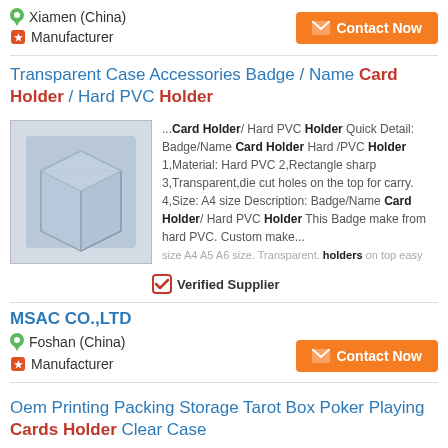Xiamen (China)
Manufacturer
Contact Now
Transparent Case Accessories Badge / Name Card Holder / Hard PVC Holder
[Figure (photo): Photo of a transparent hard PVC card holder box]
...Card Holder/ Hard PVC Holder Quick Detail: Badge/Name Card Holder Hard /PVC Holder 1,Material: Hard PVC 2,Rectangle sharp 3,Transparent,die cut holes on the top for carry. 4,Size: A4 size Description: Badge/Name Card Holder/ Hard PVC Holder This Badge make from hard PVC. Custom make... size A4 A5 A6 size. Transparent. holders on top easy
Verified Supplier
MSAC CO.,LTD
Foshan (China)
Manufacturer
Contact Now
Oem Printing Packing Storage Tarot Box Poker Playing Cards Holder Clear Case